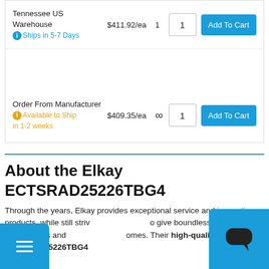| Location | Price | Qty Available | Qty | Action |
| --- | --- | --- | --- | --- |
| Tennessee US Warehouse
Ships in 5-7 Days | $411.92/ea | 1 | 1 | Add To Cart |
| Order From Manufacturer
Available to Ship in 1-2 weeks | $409.35/ea | ∞ | 1 | Add To Cart |
About the Elkay ECTSRAD25226TBG4
Through the years, Elkay provides exceptional service and innovative products, while still striving to give boundless ingenuity to your families and homes. Their high-quality ECTSRAD25226TBG4